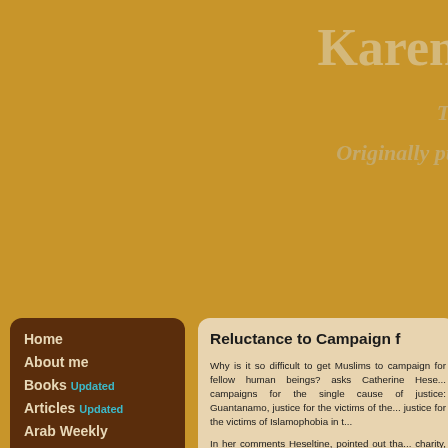Karen
Tr...
Originally pu...
Home
About me
Books Updated
Articles Updated
Arab Weekly
South Yemen New
Kurdistan
Sudan
Tripoli Post
References
Latest updates:
• Remembering Geoff Hann, the adventurous 85-year-old Middle...
Reluctance to Campaign f...
Why is it so difficult to get Muslims to campaign for fellow human beings? asks Catherine Hese... campaigns for the single cause of justice: ... Guantanamo, justice for the victims of the... justice for the victims of Islamophobia in t...
In her comments Heseltine, pointed out tha... charity, especially during the month of Ra... practicing Muslims do not feel concerns... oppressed most practicing Muslims are no...
"In multiple countries in different parts of... drinking water, and of preventable disease... Ummah. If I am truly a Muslim I must c... daughter." Heseltine said.